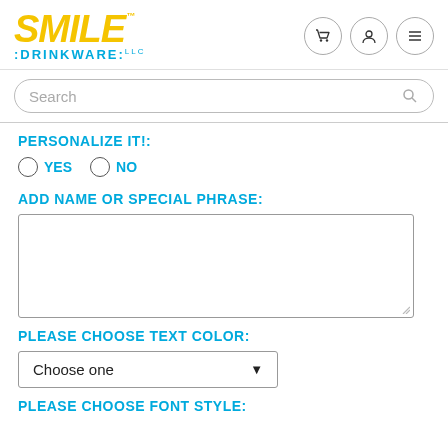[Figure (logo): Smile Drinkware logo with yellow italic SMILE text and blue DRINKWARE text]
Search
PERSONALIZE IT!:
YES   NO
ADD NAME OR SPECIAL PHRASE:
(text area input box)
PLEASE CHOOSE TEXT COLOR:
Choose one
PLEASE CHOOSE FONT STYLE: